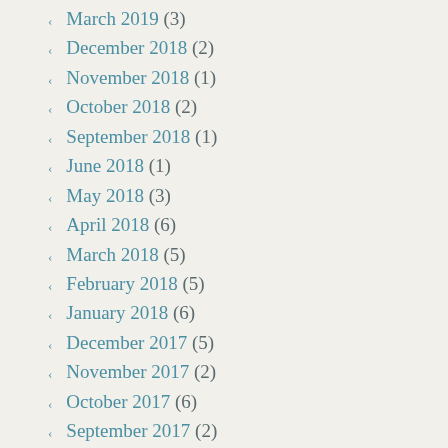March 2019 (3)
December 2018 (2)
November 2018 (1)
October 2018 (2)
September 2018 (1)
June 2018 (1)
May 2018 (3)
April 2018 (6)
March 2018 (5)
February 2018 (5)
January 2018 (6)
December 2017 (5)
November 2017 (2)
October 2017 (6)
September 2017 (2)
August 2017 (1)
July 2017 (4)